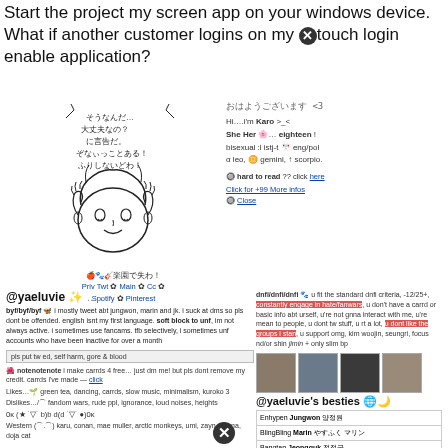Start the project my screen app on your windows device. What if another customer logins on my touch login enable application?
[Figure (illustration): Anime-style hand-drawn character with Japanese text speech bubble saying: そうなんだ…大丈夫なの？に言告だ。ぞなぃっことある！ふりしないどわ！ Below the character: 🍎🐾🎸楽園で失わ！. Links: Priv Twt ✿ Main ✿ Cc ✿ Spotify ✿ Pinterest. Right side profile info: おはようございます<3, Hi…I'm Karo >_< She Her 🌸…eighteen! bisexual :l istj-t 🎌 eng/pol α leo, ♊ gemini, ↑ scorpio. hard to read ?? click here. Click for +99 More infos. Close]
@yaeluvie ✨ …
byf/byf/byf 🦋 i mostly tweet abt jungwon, marin and jk. i suck at dms so pls dont be offended. english isnt my first language. soft block to unf, im not always active. i sometimes use fancams. tfb selectively, i sometimes unf accounts who have been inactive for over a month
pls put tw ed, self harm, gore & blood
🌺 notenotenote i make carrds 4 free… just dm me! but pls dont remove my credit. carrds i've made — click
Likes…🌱 green tea, dancing, carrds, slow music, minimalism, kuroko 3
Dislikes…/⌒ fandom wars, rude ppl, ignorance, loud noises, heights
0κ (★ ˙▽˙ b)b d(d ˙▽˙ ●)0κ
Western (⌒.⌒) karu, conan, mae muller, arctic monkeys, umi, zayn, ariana, doja cat
dnfi/dnfi/dnfi 🐾 u fit the standard dnfi criteria, -12/25+, constantly engage in hate/fanwars, u don't have a carrd or basic info abt urself, u're not gnna interact with me, u're mean to people, u dont tw stuff, u rt a lot, u dont like the groups i stan, u support omg, kim woojin, seungri, focus nd/or shin jimin + only slim bp
@yaeluvie's besties 🌐🌙
| Enhypen Jungwon 양정원 |
| BlingBling Marin やすふく マリン |
| Bangtan Jeongguk 전정국 |
| Girls' Generation Taeyeon 김태연 |
Also like (꒪·ᵕ·꒪)♪ hinapia, lu, bibi, the rose, girls day, kard, lee hi, petstin, twice, stray